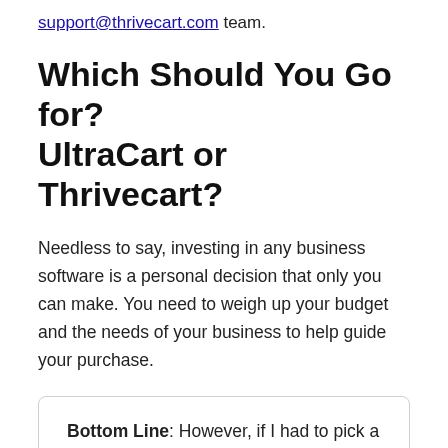support@thrivecart.com team.
Which Should You Go for? UltraCart or Thrivecart?
Needless to say, investing in any business software is a personal decision that only you can make. You need to weigh up your budget and the needs of your business to help guide your purchase.
Bottom Line: However, if I had to pick a favorite, I feel ThriveCart hits the mark